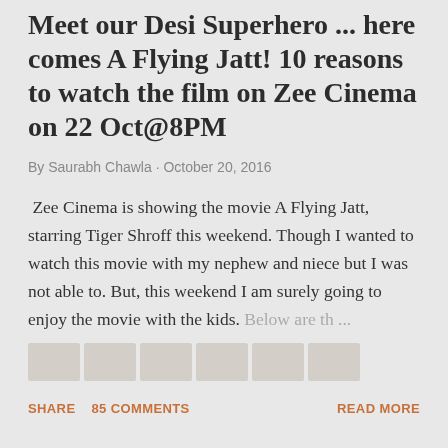Meet our Desi Superhero ... here comes A Flying Jatt! 10 reasons to watch the film on Zee Cinema on 22 Oct@8PM
By Saurabh Chawla · October 20, 2016
Zee Cinema is showing the movie A Flying Jatt, starring Tiger Shroff this weekend. Though I wanted to watch this movie with my nephew and niece but I was not able to. But, this weekend I am surely going to enjoy the movie with the kids. Below are th ...
SHARE   85 COMMENTS   READ MORE